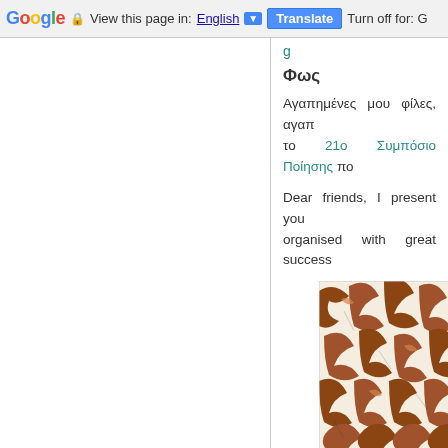Google Translate bar: View this page in: English ▼ | Translate | Turn off for: G
g (teal nav link, partial)
Φως
Αγαπημένες μου φίλες, αγαπ... το 21ο Συμπόσιο Ποίησης π...
Dear friends, I present you ... organised with great success
[Figure (illustration): Abstract artwork showing interlocking brown/tan bird or leaf shapes on a light background, resembling an Escher-style tessellation pattern]